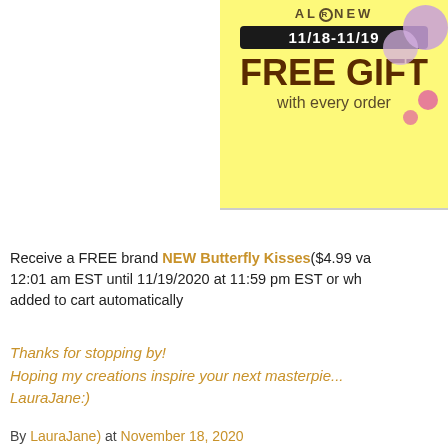[Figure (illustration): Altenew promotional banner with yellow background showing '11/18-11/19 FREE GIFT with every order' text and purple flower decorations in corner]
Receive a FREE brand NEW Butterfly Kisses ($4.99 va... 12:01 am EST until 11/19/2020 at 11:59 pm EST or wh... added to cart automatically
Thanks for stopping by!
Hoping my creations inspire your next masterpie...
LauraJane:)
By LauraJane) at November 18, 2020